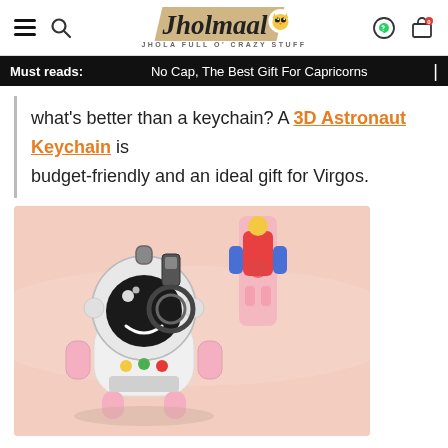Jholmaal — JHOLA FULL O' CRAZY STUFF
Must reads: No Cap, The Best Gift For Capricorns |
what's better than a keychain? A 3D Astronaut Keychain is budget-friendly and an ideal gift for Virgos.
[Figure (photo): Close-up photo of a white rubber 3D astronaut keychain with a black helmet visor, colorful chest buttons, and a metal key ring. In the blurred background is another astronaut keychain strap in pink with blue and red accents.]